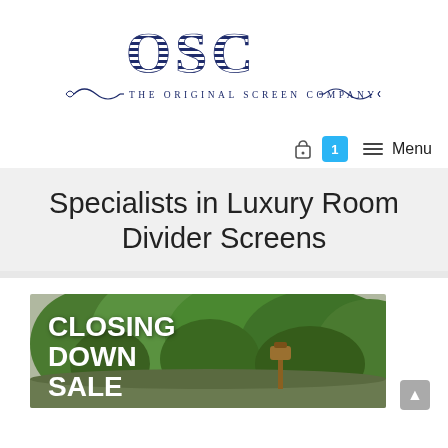[Figure (logo): OSC - The Original Screen Company logo with decorative scrollwork and striped letters]
cart icon with badge 1 and Menu navigation button
Specialists in Luxury Room Divider Screens
[Figure (photo): Garden scene with green trees and a lantern, overlaid with white bold text reading CLOSING DOWN SALE]